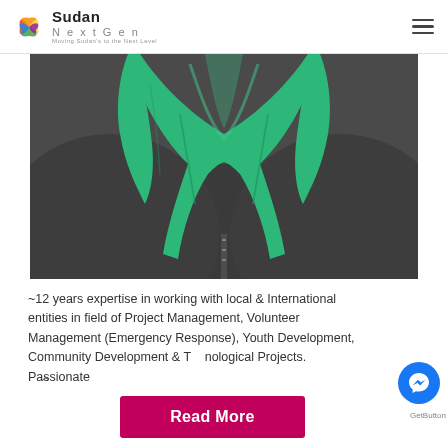Sudan NextGen — Moving Sudan's to the Next Level
[Figure (photo): Close-up photo of a person wearing a dark textured jacket and a green/teal hijab/scarf, cropped to show neck and shoulders area.]
~12 years expertise in working with local & International entities in field of Project Management, Volunteer Management (Emergency Response), Youth Development, Community Development & T...nological Projects. Passionate